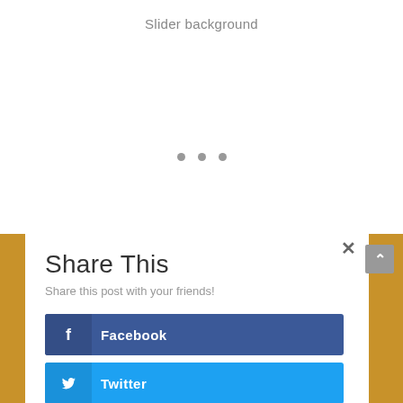Slider background
[Figure (other): Three dots pagination indicator]
Share This
Share this post with your friends!
[Figure (other): Facebook share button with Facebook icon]
[Figure (other): Twitter share button with Twitter bird icon]
[Figure (other): LinkedIn share button with LinkedIn icon]
[Figure (other): reddit share button with Reddit alien icon]